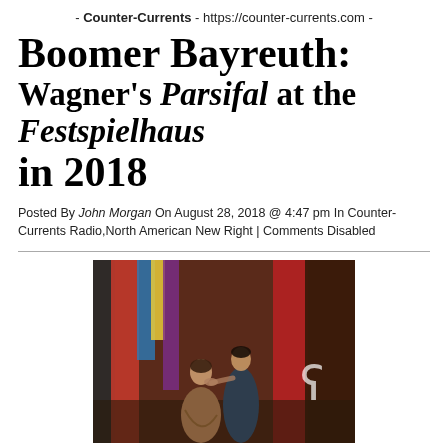- Counter-Currents - https://counter-currents.com -
Boomer Bayreuth: Wagner's Parsifal at the Festspielhaus in 2018
Posted By John Morgan On August 28, 2018 @ 4:47 pm In Counter-Currents Radio,North American New Right | Comments Disabled
[Figure (photo): Two figures standing among colorful draped banners and flags in a theatrical stage setting, likely from the Bayreuth production of Parsifal 2018.]